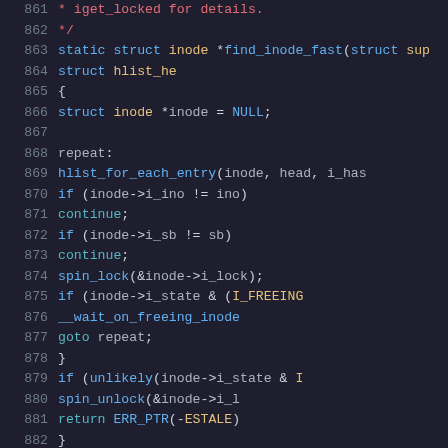[Figure (screenshot): Source code snippet showing C kernel code for find_inode_fast function, lines 861-882, with syntax highlighting on a dark background. Line numbers in gray on left, code in blue, red, gold, and white colors.]